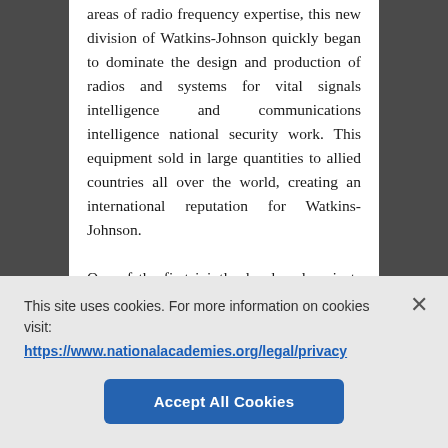areas of radio frequency expertise, this new division of Watkins-Johnson quickly began to dominate the design and production of radios and systems for vital signals intelligence and communications intelligence national security work. This equipment sold in large quantities to allied countries all over the world, creating an international reputation for Watkins-Johnson.
One of the first jointly developed projects was the once deeply classified QRC-259, a wideband militarized receiver system designed to intercept and unpack signals from a range of sources. This system
This site uses cookies. For more information on cookies visit:
https://www.nationalacademies.org/legal/privacy
Accept All Cookies